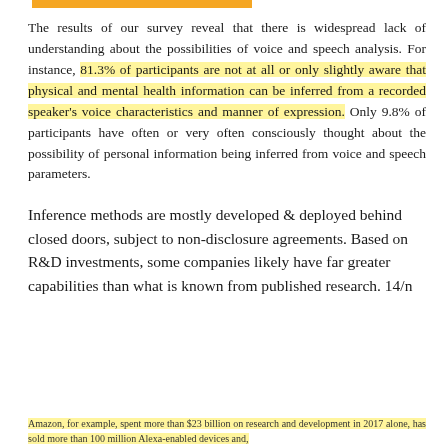The results of our survey reveal that there is widespread lack of understanding about the possibilities of voice and speech analysis. For instance, 81.3% of participants are not at all or only slightly aware that physical and mental health information can be inferred from a recorded speaker's voice characteristics and manner of expression. Only 9.8% of participants have often or very often consciously thought about the possibility of personal information being inferred from voice and speech parameters.
Inference methods are mostly developed & deployed behind closed doors, subject to non-disclosure agreements. Based on R&D investments, some companies likely have far greater capabilities than what is known from published research. 14/n
Amazon, for example, spent more than $23 billion on research and development in 2017 alone, has sold more than 100 million Alexa-enabled devices and,